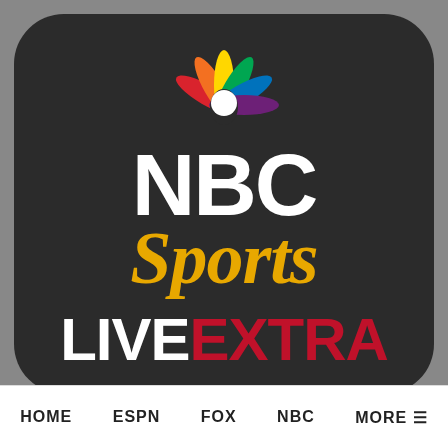[Figure (logo): NBC Sports Live Extra app icon. Dark rounded square background with NBC peacock logo at top, 'NBC' in large white bold text, 'Sports' in large gold italic script, 'LIVE' in white bold and 'EXTRA' in red bold.]
HOME
ESPN
FOX
NBC
MORE ≡